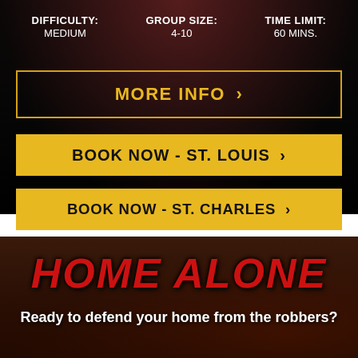DIFFICULTY: MEDIUM
GROUP SIZE: 4-10
TIME LIMIT: 60 MINS.
MORE INFO >
BOOK NOW - ST. LOUIS >
BOOK NOW - ST. CHARLES >
HOME ALONE
Ready to defend your home from the robbers?